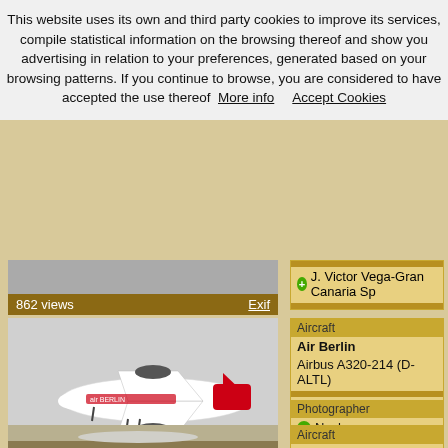This website uses its own and third party cookies to improve its services, compile statistical information on the browsing thereof and show you advertising in relation to your preferences, generated based on your browsing patterns. If you continue to browse, you are considered to have accepted the use thereof  More info    Accept Cookies
[Figure (photo): Partial view of an aircraft at top of page (cropped), 862 views]
[Figure (photo): J. Victor Vega - Gran Canaria Sp... (partial right panel text, cropped)]
[Figure (photo): Air Berlin Airbus A320-214 (D-ALTL) in flight, white with red tail, 572 views]
Aircraft
Air Berlin
Airbus A320-214 (D-ALTL)
Photographer
Nacho
[Figure (photo): Airfix Aviation Cessna 750 Citation X (OH-PPI) on tarmac]
Aircraft
Airfix Aviation
Cessna 750 Citation X (OH-PPI)
Photographer